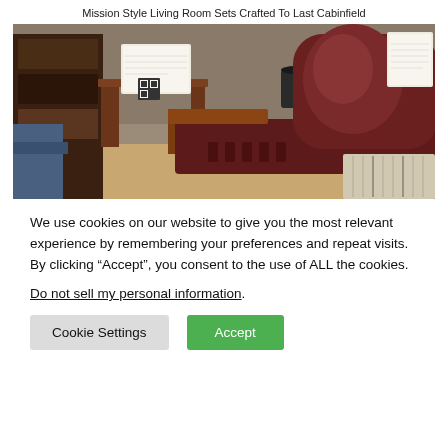Mission Style Living Room Sets Crafted To Last Cabinfield
[Figure (photo): A mission-style leather recliner chair in dark brown with wooden arms and base, displayed in a furniture showroom with matching side tables and shelving visible in the background.]
We use cookies on our website to give you the most relevant experience by remembering your preferences and repeat visits. By clicking “Accept”, you consent to the use of ALL the cookies.
Do not sell my personal information.
Cookie Settings   Accept